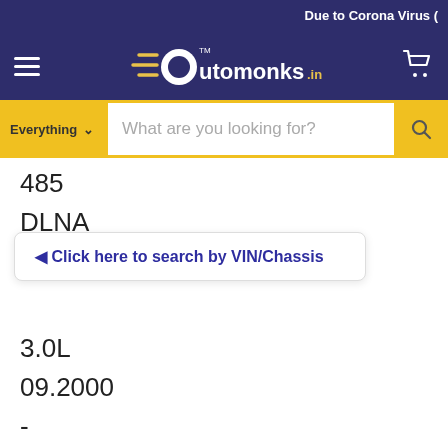Due to Corona Virus (
[Figure (logo): Automonks.in logo with hamburger menu and cart icon on dark purple navbar]
Everything  What are you looking for?
485
DLNA
Click here to search by VIN/Chassis
SPACIO
3.0L
09.2000
-
12.2007
3
L
71
h.p.